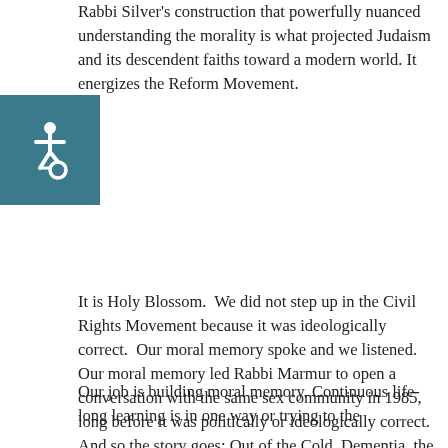Rabbi Silver's construction that powerfully nuanced understanding the morality is what projected Judaism and its descendent faiths toward a modern world. It energizes the Reform Movement.
[Figure (other): Accessibility wheelchair icon — white symbol on teal/dark teal square background]
It is Holy Blossom.  We did not step up in the Civil Rights Movement because it was ideologically correct.  Our moral memory spoke and we listened. Our moral memory led Rabbi Marmur to open a conversation with the same sex community in 1985, long before it was politically or ideologically correct.  And so the story goes; Out of the Cold, Dementia, the Roma, First Nations, and our conversation with Israel. They are all driven by moral memory.
Our job is building moral memory. Continuous life-long learning is in one way or trying to the